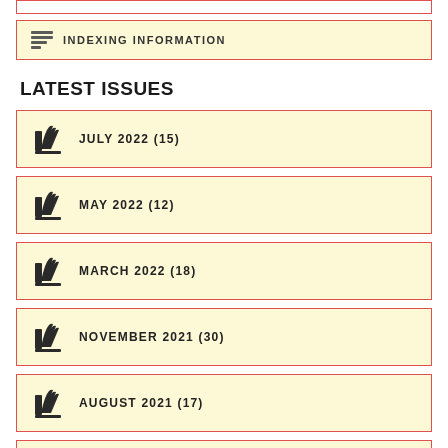INDEXING INFORMATION
LATEST ISSUES
JULY 2022 (15)
MAY 2022 (12)
MARCH 2022 (18)
NOVEMBER 2021 (30)
AUGUST 2021 (17)